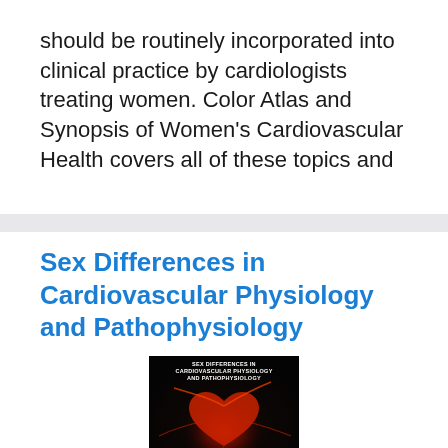should be routinely incorporated into clinical practice by cardiologists treating women. Color Atlas and Synopsis of Women's Cardiovascular Health covers all of these topics and
Sex Differences in Cardiovascular Physiology and Pathophysiology
[Figure (photo): Book cover for 'Sex Differences in Cardiovascular Physiology and Pathophysiology' showing white title text on dark background with a red glowing heart/cardiovascular image]